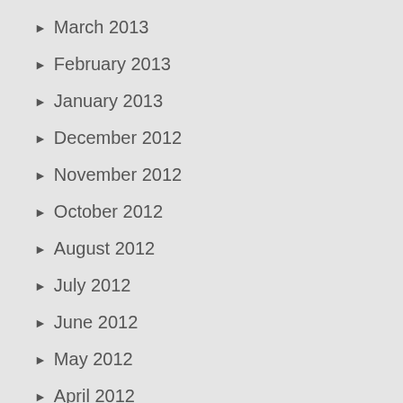March 2013
February 2013
January 2013
December 2012
November 2012
October 2012
August 2012
July 2012
June 2012
May 2012
April 2012
March 2012
February 2012